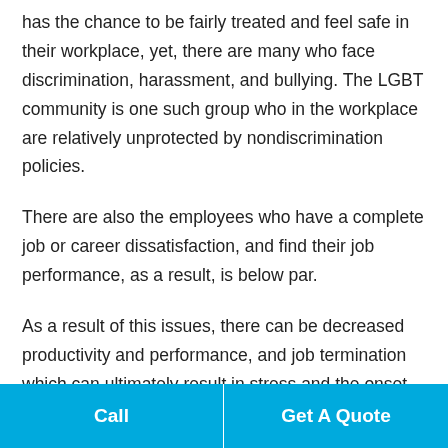has the chance to be fairly treated and feel safe in their workplace, yet, there are many who face discrimination, harassment, and bullying. The LGBT community is one such group who in the workplace are relatively unprotected by nondiscrimination policies.
There are also the employees who have a complete job or career dissatisfaction, and find their job performance, as a result, is below par.
As a result of this issues, there can be decreased productivity and performance, and job termination which can ultimately result in stress and the onset of mental health issues. There are also many cases of harassment
Call | Get A Quote